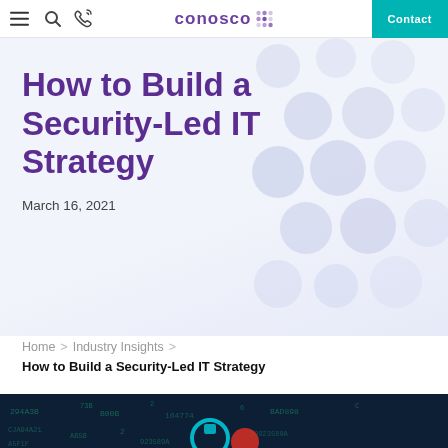conosco | Contact
How to Build a Security-Led IT Strategy
March 16, 2021
Home > Industry Insights >
How to Build a Security-Led IT Strategy
[Figure (photo): Dark digital/cybersecurity background with hex numbers and code, featuring a blue and red padlock or security icon in the center]